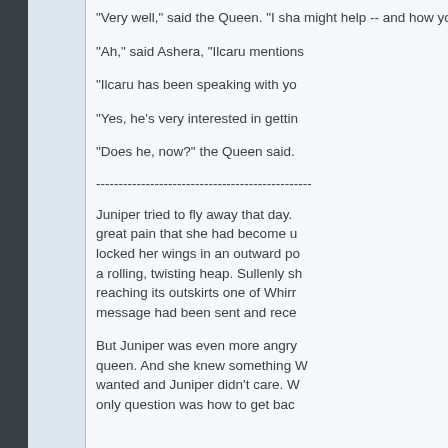“Very well,” said the Queen. “I sha might help -- and how you might r
“Ah,” said Ashera, “Ilcaru mentions
“Ilcaru has been speaking with yo
“Yes, he’s very interested in gettin
“Does he, now?” the Queen said.
------------------------------------------------
Juniper tried to fly away that day. great pain that she had become u locked her wings in an outward po a rolling, twisting heap. Sullenly sh reaching its outskirts one of Whirr message had been sent and rece
But Juniper was even more angry queen. And she knew something W wanted and Juniper didn’t care. W only question was how to get bac